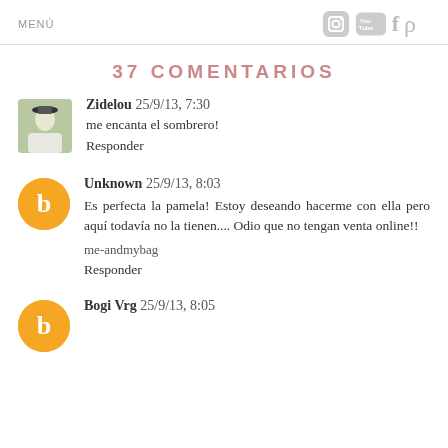MENÚ
37 COMENTARIOS
Zidelou 25/9/13, 7:30 — me encanta el sombrero! — Responder
Unknown 25/9/13, 8:03 — Es perfecta la pamela! Estoy deseando hacerme con ella pero aquí todavía no la tienen.... Odio que no tengan venta online!! — me-andmybag — Responder
Bogi Vrg 25/9/13, 8:05